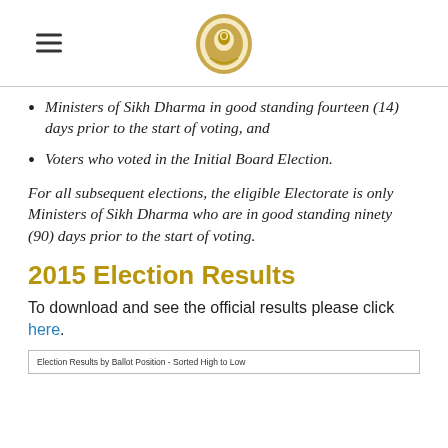[Logo: Sikh Dharma emblem with hamburger menu]
Ministers of Sikh Dharma in good standing fourteen (14) days prior to the start of voting, and
Voters who voted in the Initial Board Election.
For all subsequent elections, the eligible Electorate is only Ministers of Sikh Dharma who are in good standing ninety (90) days prior to the start of voting.
2015 Election Results
To download and see the official results please click here.
| Election Results by Ballot Position - Sorted High to Low |
| --- |